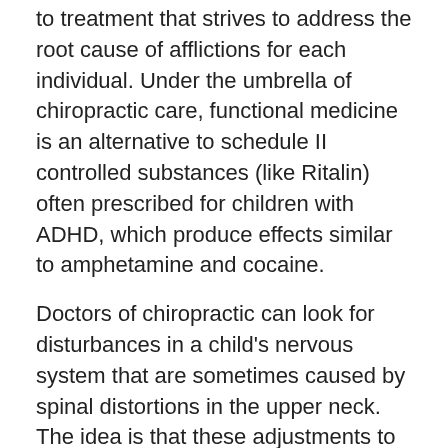to treatment that strives to address the root cause of afflictions for each individual. Under the umbrella of chiropractic care, functional medicine is an alternative to schedule II controlled substances (like Ritalin) often prescribed for children with ADHD, which produce effects similar to amphetamine and cocaine.
Doctors of chiropractic can look for disturbances in a child's nervous system that are sometimes caused by spinal distortions in the upper neck. The idea is that these adjustments to the nervous system can positively affect the underlying causes of illness, in this case ADHD. Chiropractors can also treat ADHD with dietary advice, testing and supplements to improve symptoms.
Summary
Via functional medicine ideals, chiropractic can help ADHD with the proper time and attention paid to the